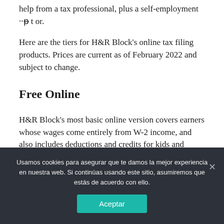help from a tax professional, plus a self-employment ··ᵽ t or.
Here are the tiers for H&R Block's online tax filing products. Prices are current as of February 2022 and subject to change.
Free Online
H&R Block's most basic online version covers earners whose wages come entirely from W-2 income, and also includes deductions and credits for kids and student loan costs.
Usamos cookies para asegurar que te damos la mejor experiencia en nuestra web. Si continúas usando este sitio, asumiremos que estás de acuerdo con ello.
Aceptar